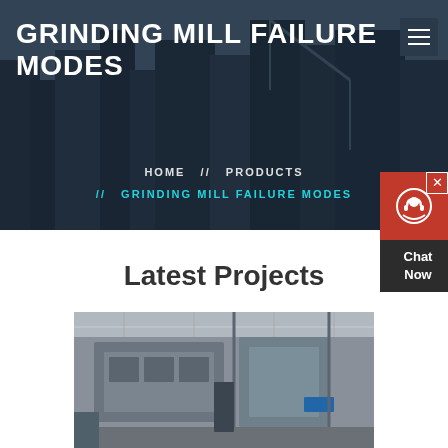GRINDING MILL FAILURE MODES
HOME // PRODUCTS // GRINDING MILL FAILURE MODES
[Figure (screenshot): Chat widget with customer support icon, red background, 'Chat Now' text on dark background]
Latest Projects
[Figure (photo): Industrial grinding mill equipment in a factory setting, showing large machinery with metal structures]